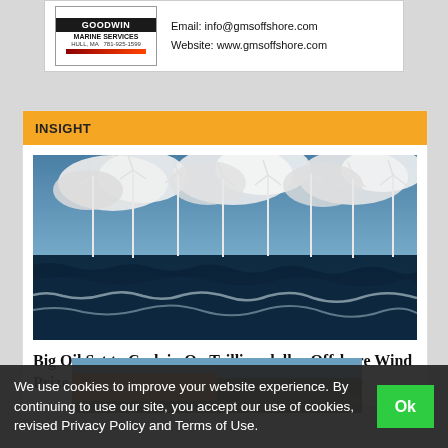[Figure (other): Goodwin Marine Services advertisement banner with logo, email info@gmsoffshore.com and website www.gmsoffshore.com]
INSIGHT
[Figure (photo): Offshore wind farm with multiple white wind turbines rising above choppy dark ocean waves under a cloudy blue sky]
Big Oil Set to Cash in On Trillion-dollar Offshore Wind Prize
[Figure (photo): Partial bottom image with Find out more button]
We use cookies to improve your website experience. By continuing to use our site, you accept our use of cookies, revised Privacy Policy and Terms of Use.